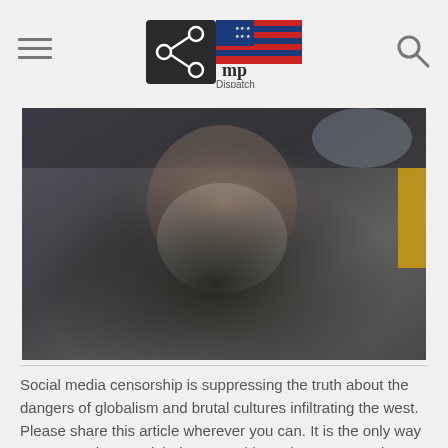Trump Dispatch
[Figure (photo): Photo of a bearded man with white beard, appearing to be inside a vehicle, smiling, wearing dark clothing]
Social media censorship is suppressing the truth about the dangers of globalism and brutal cultures infiltrating the west. Please share this article wherever you can. It is the only way we can work around their censorship and ensure people receive news about issues that Democrats and the mainstream media suppress.